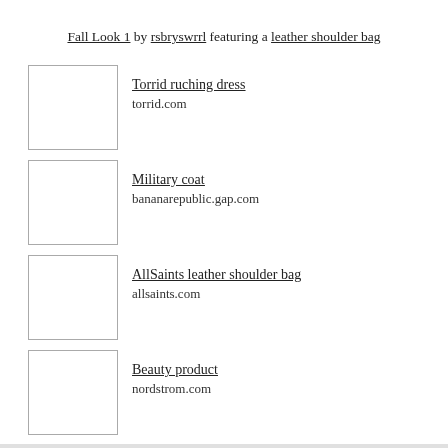Fall Look 1 by rsbryswrrl featuring a leather shoulder bag
Torrid ruching dress
torrid.com
Military coat
bananarepublic.gap.com
AllSaints leather shoulder bag
allsaints.com
Beauty product
nordstrom.com
Posted on September 21, 2017
Posted in Uncategorized
Tagged AllSaints, clothing, fashion, fluevog, Outlander, polyvore, style, Torrid Leave a comment